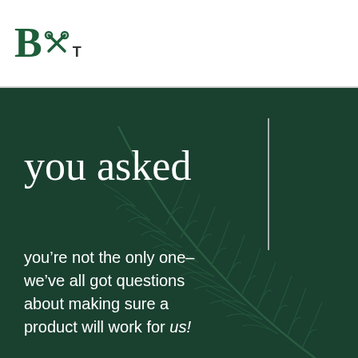BT (logo with scissors icon)
you asked
you’re not the only one– we’ve all got questions about making sure a product will work for us!